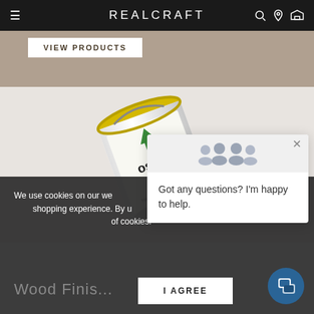REALCRAFT
[Figure (screenshot): VIEW PRODUCTS button on a brown/beige background strip]
[Figure (photo): Osmo Polyx-Oil High Solid paint can tilted on a light grey background]
We use cookies on our website to improve your shopping experience. By using this site, you agree to our use of cookies.
[Figure (screenshot): Chat popup with people icon and message: Got any questions? I'm happy to help.]
Wood Finis...
I AGREE